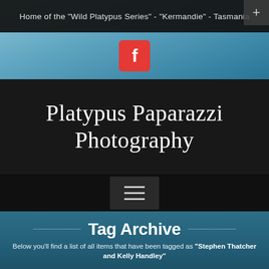Home of the "Wild Platypus Series" - "Kermandie" - Tasmania
[Figure (logo): Facebook logo icon in red square]
Platypus Paparazzi Photography
[Figure (infographic): Hamburger menu icon (three horizontal lines)]
Tag Archive
Below you'll find a list of all items that have been tagged as "Stephen Thatcher and Kelly Handley"